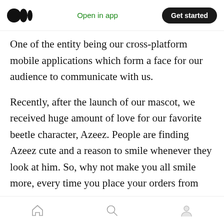Medium logo | Open in app | Get started
One of the entity being our cross-platform mobile applications which form a face for our audience to communicate with us.
Recently, after the launch of our mascot, we received huge amount of love for our favorite beetle character, Azeez. People are finding Azeez cute and a reason to smile whenever they look at him. So, why not make you all smile more, every time you place your orders from our mobile applications?
We have changed our app interfaces with Azeez's
Home | Search | Profile